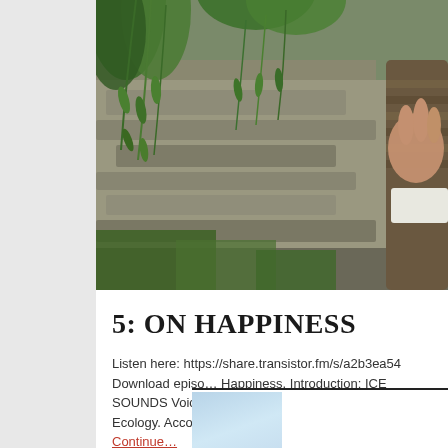[Figure (photo): Outdoor nature scene with green willow-like leaves hanging down in foreground, rocky stone wall in background, and a person's outstretched hand visible on the right side wearing a striped sweater with white collar]
5: ON HAPPINESS
Listen here: https://share.transistor.fm/s/a2b3ea54 Download episode Happiness. Introduction: ICE SOUNDS Voice: Welcome to Nordic B… term Deep Ecology. According to Naess's interpretation … Continue…